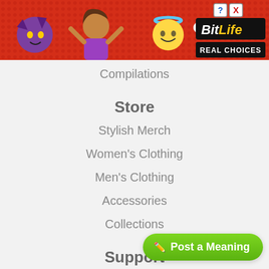[Figure (other): BitLife advertisement banner with red background, emoji characters (devil, woman with hands up, angel), sperm emoji, BitLife logo, and 'REAL CHOICES' text]
Compilations
Store
Stylish Merch
Women's Clothing
Men's Clothing
Accessories
Collections
Support
About
Advertise
Contact Us